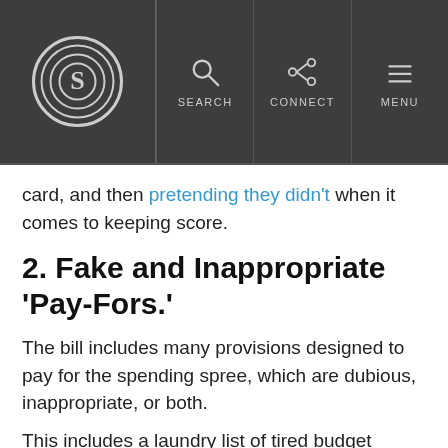S [logo] | SEARCH | CONNECT | MENU
card, and then pretending they didn't when it comes to keeping score.
2. Fake and Inappropriate 'Pay-Fors.'
The bill includes many provisions designed to pay for the spending spree, which are dubious, inappropriate, or both.
This includes a laundry list of tired budget gimmicks, including the sale of oil from the Strategic Petroleum Reserve, extending long-standing fees, and spectrum sales. Many of these gimmicks have a history of falling short of expectations.